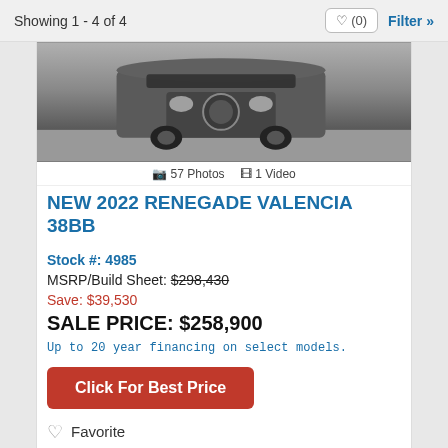Showing 1 - 4 of 4
[Figure (photo): Front view of a large motorhome/RV (Renegade Valencia 38BB) in a parking lot, dark metallic finish]
📷 57 Photos  🎞 1 Video
NEW 2022 RENEGADE VALENCIA 38BB
Stock #: 4985
MSRP/Build Sheet: $298,430
Save: $39,530
SALE PRICE: $258,900
Up to 20 year financing on select models.
Click For Best Price
Favorite
ON ORDER